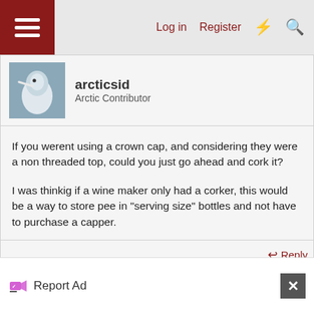Log in  Register
arcticsid
Arctic Contributor
If you werent using a crown cap, and considering they were a non threaded top, could you just go ahead and cork it?

I was thinkig if a wine maker only had a corker, this would be a way to store pee in "serving size" bottles and not have to purchase a capper.
Aug 6, 2010  #14
Report Ad